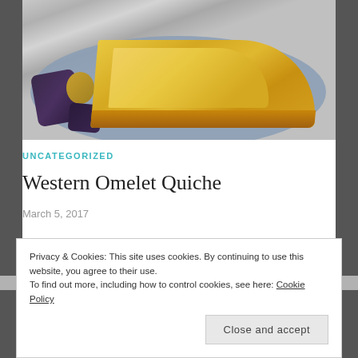[Figure (photo): A slice of Western Omelet Quiche on a plate with roasted purple and yellow potatoes]
UNCATEGORIZED
Western Omelet Quiche
March 5, 2017
Life has been a little crazy around here and spring sports
Privacy & Cookies: This site uses cookies. By continuing to use this website, you agree to their use.
To find out more, including how to control cookies, see here: Cookie Policy
Close and accept